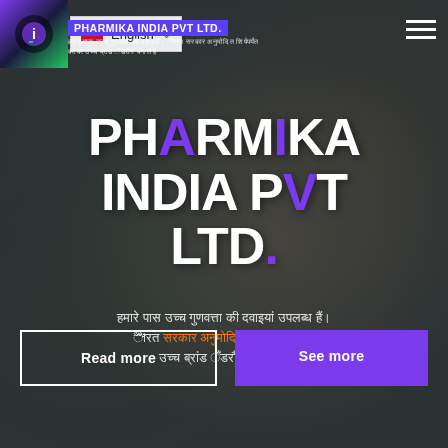English (language selector)
PHARMIKA INDIA PVT LTD.
Hindi/Devanagari descriptive text (subtitle)
Hindi/Devanagari body description paragraph
Read more | See more (buttons)